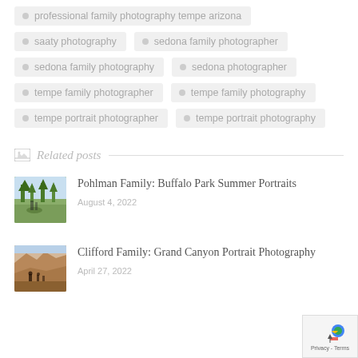professional family photography tempe arizona
saaty photography
sedona family photographer
sedona family photography
sedona photographer
tempe family photographer
tempe family photography
tempe portrait photographer
tempe portrait photography
Related posts
Pohlman Family: Buffalo Park Summer Portraits
August 4, 2022
Clifford Family: Grand Canyon Portrait Photography
April 27, 2022